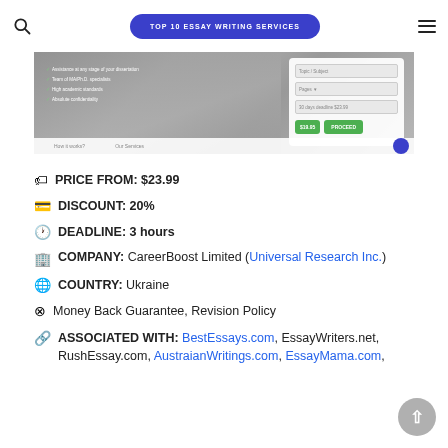TOP 10 ESSAY WRITING SERVICES
[Figure (screenshot): Screenshot of an essay writing service website showing a laptop keyboard in background, with green checkmark bullet points on the left and a pricing/order widget on the right with a green Proceed button]
PRICE FROM: $23.99
DISCOUNT: 20%
DEADLINE: 3 hours
COMPANY: CareerBoost Limited (Universal Research Inc.)
COUNTRY: Ukraine
Money Back Guarantee, Revision Policy
ASSOCIATED WITH: BestEssays.com, EssayWriters.net, RushEssay.com, AustraianWritings.com, EssayMama.com,